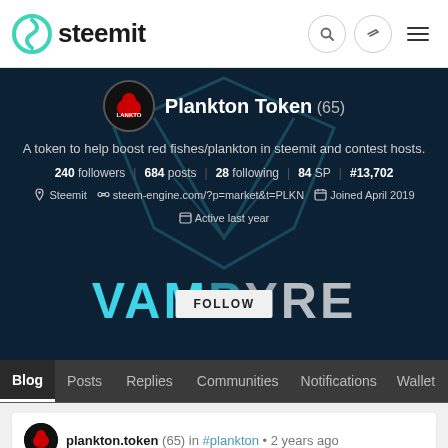steemit
[Figure (screenshot): Steemit profile page for Plankton Token account showing profile banner with VAMPYRE background logo, profile avatar, name, bio, stats, and social links]
Plankton Token (65)
A token to help boost red fishes/plankton in steemit and contest hosts.
240 followers | 684 posts | 28 following | 84 SP | #13,702
Steemit  steem-engine.com/?p=market&t=PLKN  Joined April 2019  Active last year
FOLLOW
Blog  Posts  Replies  Communities  Notifications  Wallet
plankton.token (65) in #plankton • 2 years ago